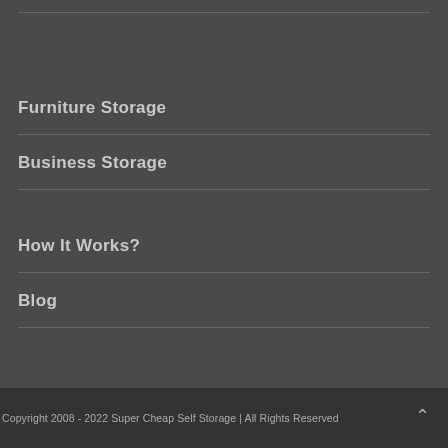Furniture Storage
Business Storage
How It Works?
Blog
Copyright 2008 - 2022 Super Cheap Self Storage | All Rights Reserved